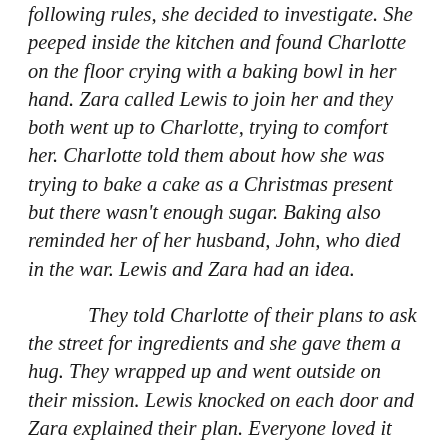following rules, she decided to investigate. She peeped inside the kitchen and found Charlotte on the floor crying with a baking bowl in her hand. Zara called Lewis to join her and they both went up to Charlotte, trying to comfort her. Charlotte told them about how she was trying to bake a cake as a Christmas present but there wasn't enough sugar. Baking also reminded her of her husband, John, who died in the war. Lewis and Zara had an idea.
They told Charlotte of their plans to ask the street for ingredients and she gave them a hug. They wrapped up and went outside on their mission. Lewis knocked on each door and Zara explained their plan. Everyone loved it and they were happy to help.
The next day was Christmas and Charlotte was up early, baking the special Christmas cake. The house smelt delightful. She carried it to the local village hall